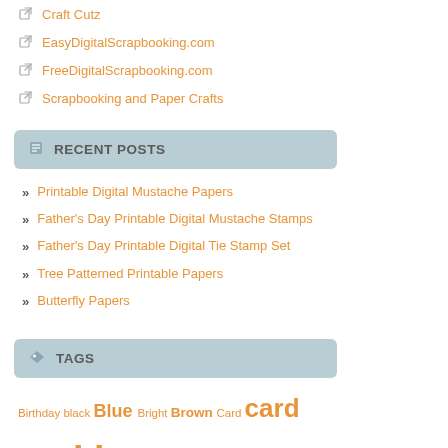Craft Cutz
EasyDigitalScrapbooking.com
FreeDigitalScrapbooking.com
Scrapbooking and Paper Crafts
RECENT POSTS
Printable Digital Mustache Papers
Father's Day Printable Digital Mustache Stamps
Father's Day Printable Digital Tie Stamp Set
Tree Patterned Printable Papers
Butterfly Papers
TAGS
Birthday black Blue Bright Brown Card card making Christmas cream digital card digital